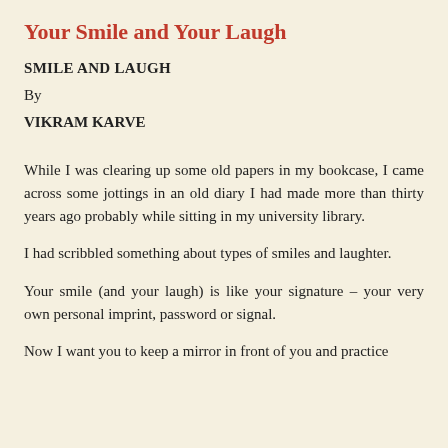Your Smile and Your Laugh
SMILE AND LAUGH
By
VIKRAM KARVE
While I was clearing up some old papers in my bookcase, I came across some jottings in an old diary I had made more than thirty years ago probably while sitting in my university library.
I had scribbled something about types of smiles and laughter.
Your smile (and your laugh) is like your signature – your very own personal imprint, password or signal.
Now I want you to keep a mirror in front of you and practice